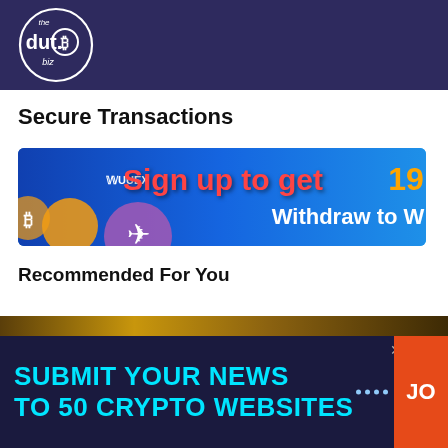the dut.B biz
Secure Transactions
[Figure (infographic): UUEX advertisement banner: blue gradient background with UUEX logo on left, text 'Sign up to get 19' in red/pink and 'Withdraw to W' in white bold text]
Recommended For You
[Figure (infographic): Bottom advertisement bar on dark navy background: 'SUBMIT YOUR NEWS TO 50 CRYPTO WEBSITES' in cyan/turquoise bold text, with orange 'JO' button on right and close X button, plus dots decoration]